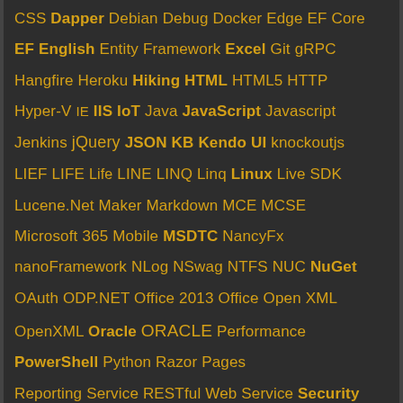CSS Dapper Debian Debug Docker Edge EF Core EF English Entity Framework Excel Git gRPC Hangfire Heroku Hiking HTML HTML5 HTTP Hyper-V IE IIS IoT Java JavaScript Javascript Jenkins jQuery JSON KB Kendo UI knockoutjs LIEF LIFE Life LINE LINQ Linq Linux Live SDK Lucene.Net Maker Markdown MCE MCSE Microsoft 365 Mobile MSDTC NancyFx nanoFramework NLog NSwag NTFS NUC NuGet OAuth ODP.NET Office 2013 Office Open XML OpenXML Oracle ORACLE Performance PowerShell Python Razor Pages Reporting Service RESTful Web Service Security